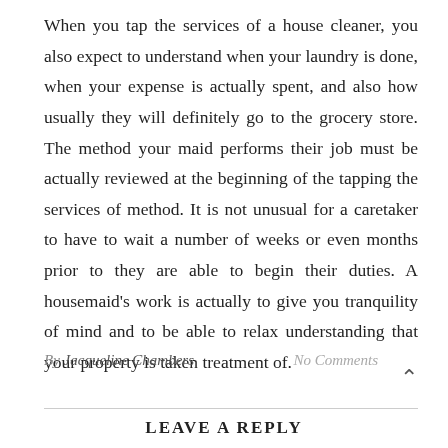When you tap the services of a house cleaner, you also expect to understand when your laundry is done, when your expense is actually spent, and also how usually they will definitely go to the grocery store. The method your maid performs their job must be actually reviewed at the beginning of the tapping the services of method. It is not unusual for a caretaker to have to wait a number of weeks or even months prior to they are able to begin their duties. A housemaid's work is actually to give you tranquility of mind and to be able to relax understanding that your property is taken treatment of.
By Jacqueline Chambers
No Comments
LEAVE A REPLY